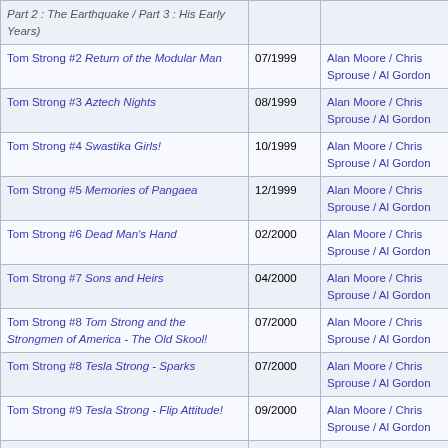| Issue / Story | Date | Creators |
| --- | --- | --- |
| Part 2 : The Earthquake / Part 3 : His Early Years) |  |  |
| Tom Strong #2 Return of the Modular Man | 07/1999 | Alan Moore / Chris Sprouse / Al Gordon |
| Tom Strong #3 Aztech Nights | 08/1999 | Alan Moore / Chris Sprouse / Al Gordon |
| Tom Strong #4 Swastika Girls! | 10/1999 | Alan Moore / Chris Sprouse / Al Gordon |
| Tom Strong #5 Memories of Pangaea | 12/1999 | Alan Moore / Chris Sprouse / Al Gordon |
| Tom Strong #6 Dead Man's Hand | 02/2000 | Alan Moore / Chris Sprouse / Al Gordon |
| Tom Strong #7 Sons and Heirs | 04/2000 | Alan Moore / Chris Sprouse / Al Gordon |
| Tom Strong #8 Tom Strong and the Strongmen of America - The Old Skool! | 07/2000 | Alan Moore / Chris Sprouse / Al Gordon |
| Tom Strong #8 Tesla Strong - Sparks | 07/2000 | Alan Moore / Chris Sprouse / Al Gordon |
| Tom Strong #9 Tesla Strong - Flip Attitude! | 09/2000 | Alan Moore / Chris Sprouse / Al Gordon |
| Tom Strong #9 The Perils of Dhalua - Volcano Dreams | 09/2000 | Alan Moore / Chris Sprouse / Al Gordon |
| Tom Strong #10 Tesla Strong - Too Many Teslas? | 11/2000 | Alan Moore / Chris Sprouse / Al Gordon |
| Tom Strong #10 Funnyland ! | 11/2000 | Alan Moore / Chris Sprouse / Al Gordon |
| Tom Strong #10 The Strongmen of America - Funnybooks Can Be Fun ! | 11/2000 | Alan Moore / Chris Sprouse / Al Gordon |
| Tom Strong #11 Strange Reunion | 01/2001 | Alan Moore / Chris Sprouse / Al Gordon |
| Tom Strong #12 Terror on Terra Obscura! | 06/2001 | Alan Moore / Chris Sprouse / Al Gordon |